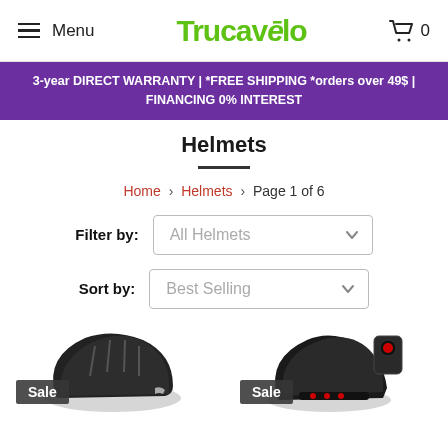Menu | Trucavelo | 0
3-year DIRECT WARRANTY | *FREE SHIPPING *orders over 49$ | FINANCING 0% INTEREST
Helmets
Home > Helmets > Page 1 of 6
Filter by: All Helmets
Sort by: Best Selling
[Figure (photo): Two bicycle helmets shown side by side, both with 'Sale' badges. Left: black road cycling helmet. Right: black helmet with red LED lights.]